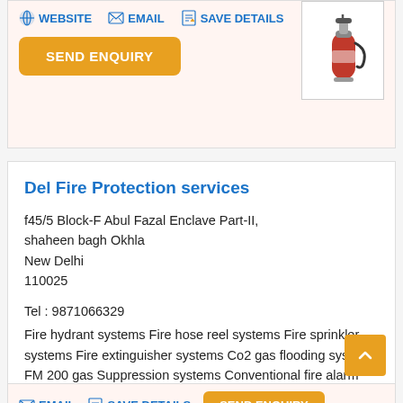[Figure (screenshot): Top card showing action links: WEBSITE, EMAIL, SAVE DETAILS with icons, and a SEND ENQUIRY button on the left, and a fire extinguisher product image on the right]
Del Fire Protection services
f45/5 Block-F Abul Fazal Enclave Part-II,
shaheen bagh Okhla
New Delhi
110025
Tel : 9871066329
Fire hydrant systems Fire hose reel systems Fire sprinkler systems Fire extinguisher systems Co2 gas flooding systems FM 200 gas Suppression systems Conventional fire alarm systems Addressable fire alarm systems Public addressable systems Beam detection systems